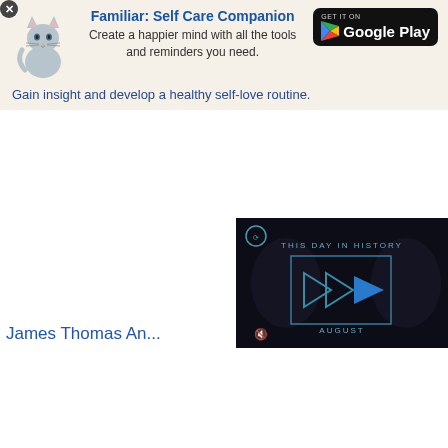[Figure (screenshot): Advertisement banner for 'Familiar: Self Care Companion' app with a cat illustration, Google Play button, and tagline.]
Familiar: Self Care Companion
Create a happier mind with all the tools and reminders you need.
Gain insight and develop a healthy self-love routine.
[Figure (screenshot): Video player thumbnail showing 'THIS DAY IN HISTORY' with blue play button icons and 'AUGUST' text on a dark background.]
James Thomas An...